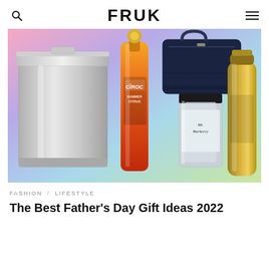FRUK
[Figure (photo): Hero image showing Father's Day gift ideas including a silver trash can, Ciroc Summer Citrus vodka bottle, a dark blue bag, a Burberry Mr. Burberry cologne bottle, and a gold water bottle, all on a colorful pastel gradient background.]
FASHION / LIFESTYLE
The Best Father's Day Gift Ideas 2022